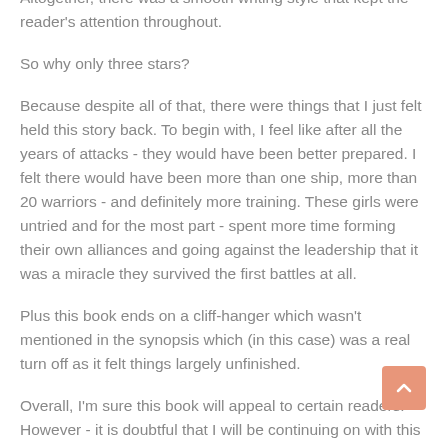the all girl warrior team. The fight scenes were tense, and the author's take of mermaids different from the norm. Altogether, there was a smooth writing style that kept the reader's attention throughout.
So why only three stars?
Because despite all of that, there were things that I just felt held this story back. To begin with, I feel like after all the years of attacks - they would have been better prepared. I felt there would have been more than one ship, more than 20 warriors - and definitely more training. These girls were untried and for the most part - spent more time forming their own alliances and going against the leadership that it was a miracle they survived the first battles at all.
Plus this book ends on a cliff-hanger which wasn't mentioned in the synopsis which (in this case) was a real turn off as it felt things largely unfinished.
Overall, I'm sure this book will appeal to certain readers. However - it is doubtful that I will be continuing on with this series.